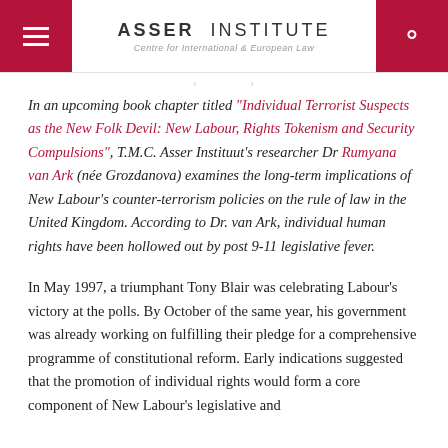Asser Institute — Centre for International & European Law
In an upcoming book chapter titled “Individual Terrorist Suspects as the New Folk Devil: New Labour, Rights Tokenism and Security Compulsions”, T.M.C. Asser Instituut’s researcher Dr Rumyana van Ark (née Grozdanova) examines the long-term implications of New Labour’s counter-terrorism policies on the rule of law in the United Kingdom. According to Dr. van Ark, individual human rights have been hollowed out by post 9-11 legislative fever.
In May 1997, a triumphant Tony Blair was celebrating Labour’s victory at the polls. By October of the same year, his government was already working on fulfilling their pledge for a comprehensive programme of constitutional reform. Early indications suggested that the promotion of individual rights would form a core component of New Labour’s legislative and